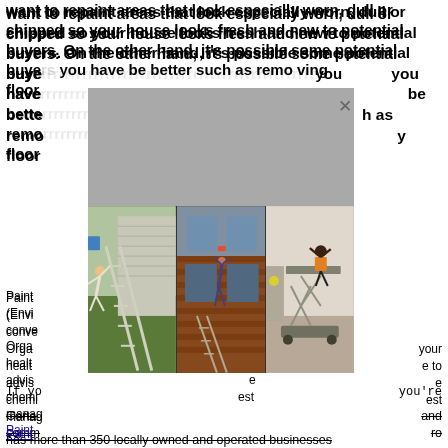want to repaint areas that look especially worn, dull or chipped so your house looks fresh and new to potential buyers. On the other hand, it's possible some potential buyers [obscured] you have [obscured] be better [obscured] such as removing [obscured] flooring.
Painting [obscured] (Environmental [obscured] conventional [obscured] Organic [obscured] your health [obscured] to advise [obscured] chemical [obscured] best management [obscured] PaintCare [link]
If you [obscured] you're
CertaPro [strikethrough: and commercial] [strikethrough: Pro] has more than 350 locally owned and operated businesses in the United States and Canada. Since 1992, CertaPro Painters has created a customer experience that is
[Figure (photo): Modal popup with grey overlay and X close button containing three side-by-side photos of people in dangerous ladder/scaffolding situations: left photo shows a person falling off a ladder against a house, center photo shows a person hanging from a window on a brick house, right photo shows a person on a scissor lift indoors.]